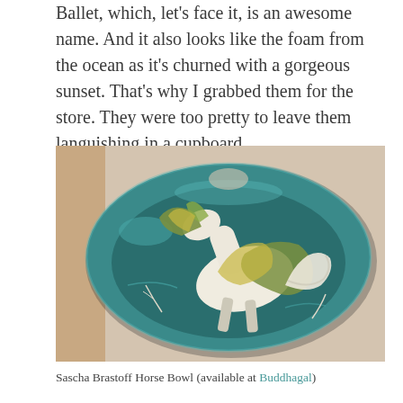Ballet, which, let's face it, is an awesome name. And it also looks like the foam from the ocean as it's churned with a gorgeous sunset. That's why I grabbed them for the store. They were too pretty to leave them languishing in a cupboard.
[Figure (photo): A teal ceramic bowl by Sascha Brastoff featuring a painted white and green horse with flowing mane and tail, set against a dark teal glazed interior, photographed on a light fabric background.]
Sascha Brastoff Horse Bowl (available at Buddhagal)